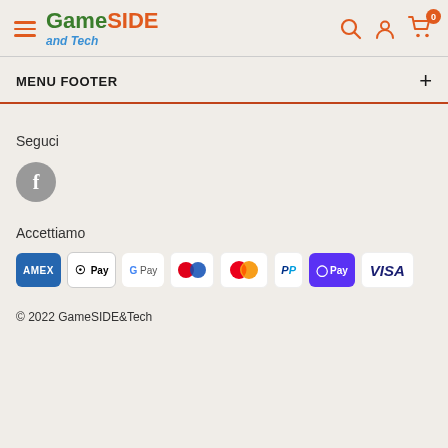GameSIDE and Tech — navigation header with hamburger menu, logo, search, account, and cart icons
MENU FOOTER
Seguci
[Figure (illustration): Gray circular Facebook icon button]
Accettiamo
[Figure (illustration): Payment method icons: AMEX, Apple Pay, Google Pay, Klarna, Mastercard, PayPal, Shop Pay, Visa]
© 2022 GameSIDE&Tech